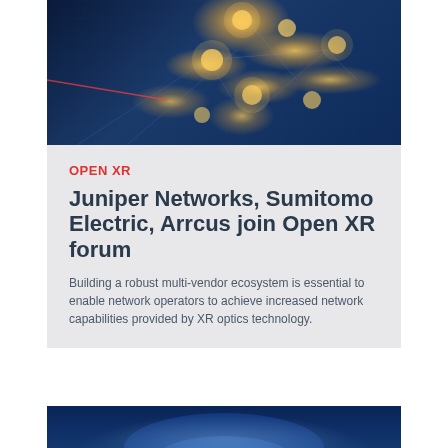[Figure (photo): Network connectivity photo showing glowing human icon nodes connected by light trails on a dark blue background with a hand pointing at one node]
OPEN XR
Juniper Networks, Sumitomo Electric, Arrcus join Open XR forum
Building a robust multi-vendor ecosystem is essential to enable network operators to achieve increased network capabilities provided by XR optics technology.
[Figure (photo): Technology background photo with blue digital globe or network imagery]